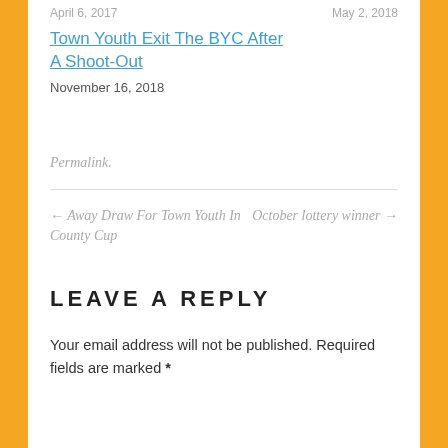April 6, 2017    May 2, 2018
Town Youth Exit The BYC After A Shoot-Out
November 16, 2018
Permalink.
← Away Draw For Town Youth In County Cup
October lottery winner →
LEAVE A REPLY
Your email address will not be published. Required fields are marked *